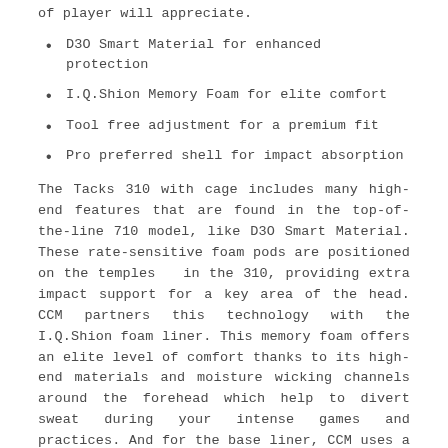of player will appreciate.
D3O Smart Material for enhanced protection
I.Q.Shion Memory Foam for elite comfort
Tool free adjustment for a premium fit
Pro preferred shell for impact absorption
The Tacks 310 with cage includes many high-end features that are found in the top-of-the-line 710 model, like D3O Smart Material. These rate-sensitive foam pods are positioned on the temples  in the 310, providing extra impact support for a key area of the head. CCM partners this technology with the I.Q.Shion foam liner. This memory foam offers an elite level of comfort thanks to its high-end materials and moisture wicking channels around the forehead which help to divert sweat during your intense games and practices. And for the base liner, CCM uses a multi-density VN foam for added impact protection.
The Tacks 310 includes a tool free adjustment on the back of the helmet for a personalized fit. This simple adjustment mechanism allows you to expand or contract the helmet along the occipital bone, locking the padding and shell in place for